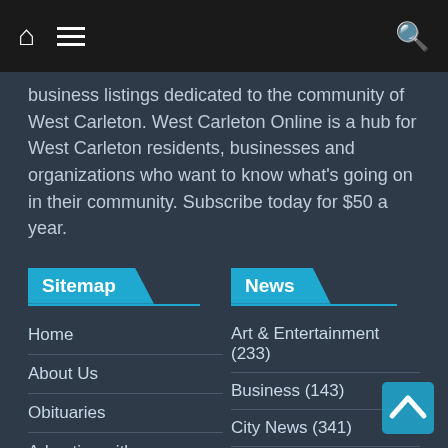Navigation bar with home icon, menu icon, and search icon
business listings dedicated to the community of West Carleton. West Carleton Online is a hub for West Carleton residents, businesses and organizations who want to know what's going on in their community. Subscribe today for $50 a year.
Sitemap
News
Home
About Us
Obituaries
Advertise with us
Contact Us
Jooble Job Search
Art & Entertainment (233)
Business (143)
City News (341)
Community News (364)
FEATURED (5)
Opinion (319)